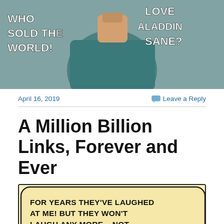[Figure (illustration): Comic book style illustration with text overlays: 'WHO SOLD THE WORLD!' on the left side and 'LOVE ALADDIN SANE?' on the right side. Features a comic book character in teal/red clothing.]
April 16, 2019
Leave a Reply
A Million Billion Links, Forever and Ever
[Figure (illustration): Comic panel with speech bubble text: 'FOR YEARS THEY'VE LAUGHED AT ME! BUT THEY WON'T LAUGH ANY MORE... NOT AFTER I FINISH MAKING THIS ROBOT TEDDY BEAR!']